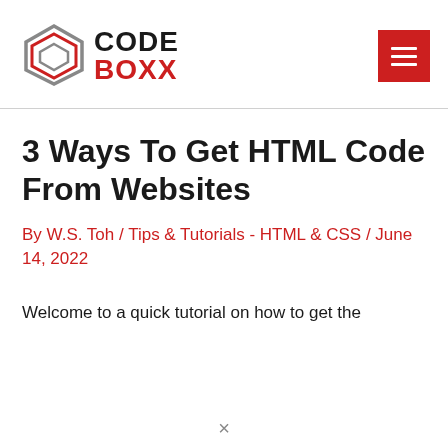[Figure (logo): Code Boxx logo with a geometric box icon on the left and 'CODE BOXX' text on the right, plus a red hamburger menu button in the top right corner]
3 Ways To Get HTML Code From Websites
By W.S. Toh / Tips & Tutorials - HTML & CSS / June 14, 2022
Welcome to a quick tutorial on how to get the